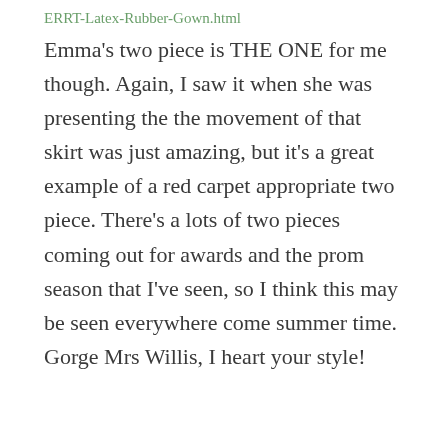ERRT-Latex-Rubber-Gown.html
Emma's two piece is THE ONE for me though. Again, I saw it when she was presenting the the movement of that skirt was just amazing, but it's a great example of a red carpet appropriate two piece. There's a lots of two pieces coming out for awards and the prom season that I've seen, so I think this may be seen everywhere come summer time. Gorge Mrs Willis, I heart your style!